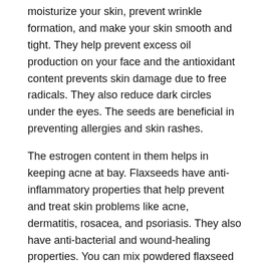moisturize your skin, prevent wrinkle formation, and make your skin smooth and tight. They help prevent excess oil production on your face and the antioxidant content prevents skin damage due to free radicals. They also reduce dark circles under the eyes. The seeds are beneficial in preventing allergies and skin rashes.
The estrogen content in them helps in keeping acne at bay. Flaxseeds have anti-inflammatory properties that help prevent and treat skin problems like acne, dermatitis, rosacea, and psoriasis. They also have anti-bacterial and wound-healing properties. You can mix powdered flaxseed with a liquid base and use it as an excellent scrub to cleanse and exfoliate your skin. It is also useful in removing blackheads and tightening the pores of your skin.
Flaxseed Good for The E...